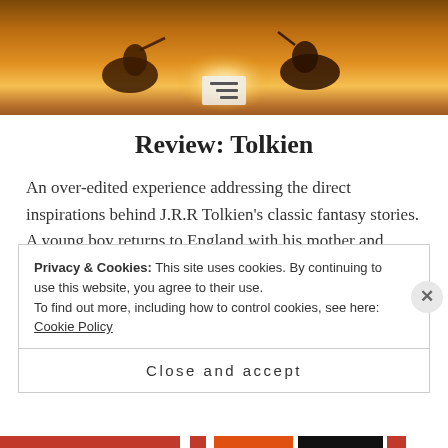[Figure (photo): Hero banner image showing silhouetted figures on horseback against a dramatic golden sunset sky with a bright white sun in the center. A hamburger menu icon is visible at the bottom center.]
Review: Tolkien
An over-edited experience addressing the direct inspirations behind J.R.R Tolkien’s classic fantasy stories. A young boy returns to England with his mother and brother and begins to study for a scholarship. Meanwhile, fantastical thoughts of otherworldy places and languages infatuate him. With the huge success of New Line Cinema’s Lord of the
Privacy & Cookies: This site uses cookies. By continuing to use this website, you agree to their use.
To find out more, including how to control cookies, see here: Cookie Policy
Close and accept